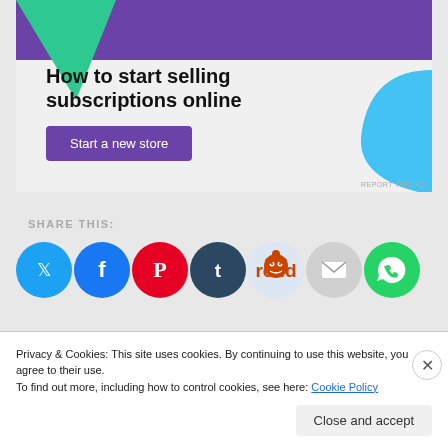[Figure (illustration): Advertisement banner with purple and teal geometric shapes. Text reads 'How to start selling subscriptions online' with a purple 'Start a new store' button.]
REPORT THIS AD
SHARE THIS:
[Figure (infographic): Row of social share icon buttons: Twitter (blue), Facebook (blue), Pinterest (red), Tumblr (dark teal), Reddit (light blue), Email (gray), WhatsApp (green)]
Loading...
Privacy & Cookies: This site uses cookies. By continuing to use this website, you agree to their use.
To find out more, including how to control cookies, see here: Cookie Policy
Close and accept